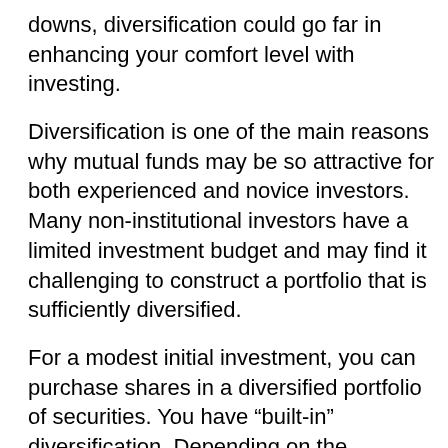downs, diversification could go far in enhancing your comfort level with investing.
Diversification is one of the main reasons why mutual funds may be so attractive for both experienced and novice investors. Many non-institutional investors have a limited investment budget and may find it challenging to construct a portfolio that is sufficiently diversified.
For a modest initial investment, you can purchase shares in a diversified portfolio of securities. You have “built-in” diversification. Depending on the objectives of the fund, it may contain a variety of stocks, bonds, and cash vehicles, or a combination of them.
Whether you are investing in mutual funds or are putting together your own combination of stocks, bonds, and other investment vehicles, it is a good idea to keep in mind the importance of diversifying. The value of stocks, bonds, and mutual funds fluctuate with market conditions. Shares, when sold, may be worth more or less than their original